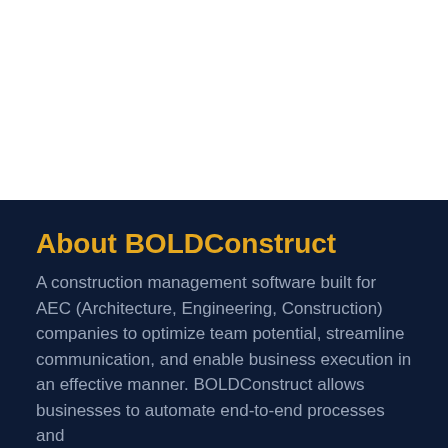About BOLDConstruct
A construction management software built for AEC (Architecture, Engineering, Construction) companies to optimize team potential, streamline communication, and enable business execution in an effective manner. BOLDConstruct allows businesses to automate end-to-end processes and